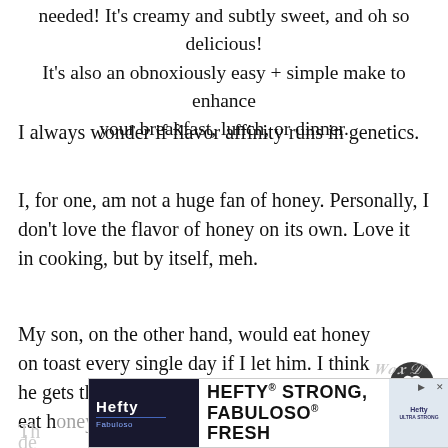needed! It's creamy and subtly sweet, and oh so delicious! It's also an obnoxiously easy + simple make to enhance your breakfast, lunch, or dinner.
I always wonder if flavor affinity runs in genetics.
I, for one, am not a huge fan of honey. Personally, I don't love the flavor of honey on its own. Love it in cooking, but by itself, meh.
My son, on the other hand, would eat honey on toast every single day if I let him. I think he gets that from my dad. Who would also eat honey on toast every single day.
[Figure (screenshot): Advertisement banner: Hefty STRONG, Fabuloso FRESH with product images]
Th... de...